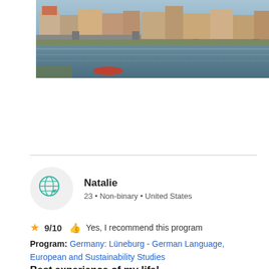[Figure (photo): Photograph of a waterfront European town scene, showing buildings along a river with bridges, in Lüneburg, Germany]
Natalie
23 • Non-binary • United States
9/10  👍 Yes, I recommend this program
Program: Germany: Lüneburg - German Language, European and Sustainability Studies
Best experience of my life!
Dec 29, 2021
This experience Was so incredible! I came in as a low level german student and now I feel much more